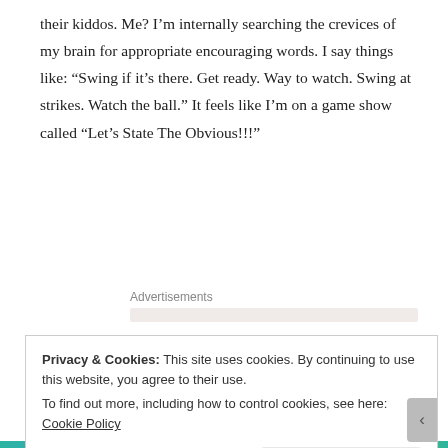their kiddos. Me? I’m internally searching the crevices of my brain for appropriate encouraging words. I say things like: "Swing if it’s there. Get ready. Way to watch. Swing at strikes. Watch the ball." It feels like I’m on a game show called "Let’s State The Obvious!!!"
Advertisements
I’ve become fluent in baseball vocabulary mostly by mimicking my husband but also from faint memories from my childhood of my dad listening to baseball games on the radio on our way home from
Privacy & Cookies: This site uses cookies. By continuing to use this website, you agree to their use.
To find out more, including how to control cookies, see here: Cookie Policy
Close and accept